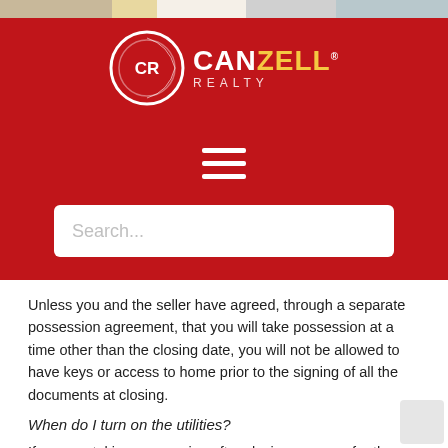[Figure (logo): CanZell Realty logo with circular CR emblem and wordmark on red background]
[Figure (other): Hamburger menu icon (three horizontal white lines) on red background]
[Figure (other): Search input box with placeholder text 'Search...' on red background]
Unless you and the seller have agreed, through a separate possession agreement, that you will take possession at a time other than the closing date, you will not be allowed to have keys or access to home prior to the signing of all the documents at closing.
When do I turn on the utilities?
If you are taking possession after closing, arrange for the utilities to be transferred into your name on the day of closing. If you plan to move in prior to the day of closing, they must be